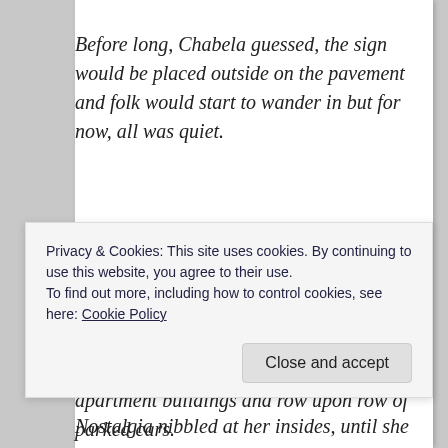Before long, Chabela guessed, the sign would be placed outside on the pavement and folk would start to wander in but for now, all was quiet.
It was so different from the dusty, densely populated street in the Colonia del Valle neighbourhood of Mexico City where she'd grown up, lined with tall, modern apartment buildings and row upon row of parked cars.
There, people gathered in cafés and restaurants from early in the morning till late at night, talking…
Privacy & Cookies: This site uses cookies. By continuing to use this website, you agree to their use.
To find out more, including how to control cookies, see here: Cookie Policy
Nostalgia nibbled at her insides, until she